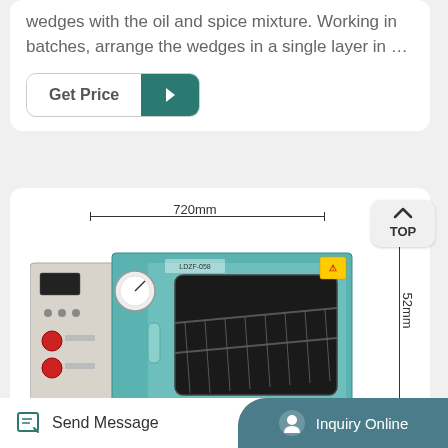wedges with the oil and spice mixture. Working in batches, arrange the wedges in a single layer in …
[Figure (photo): Vacuum drying oven with dimensions labeled: 720mm width, 52mm height on right side, 150mm depth at base. Teal/blue colored oven with glass door showing internal shelves, control panel with red buttons and digital display on left side.]
Send Message   Inquiry Online